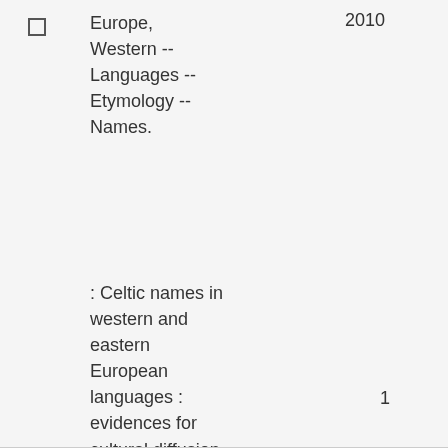Europe, Western -- Languages -- Etymology -- Names.
2010
: Celtic names in western and eastern European languages : evidences for cultural diffusion / Marius Albu ; with contributions from Ioana Gauntlett
1